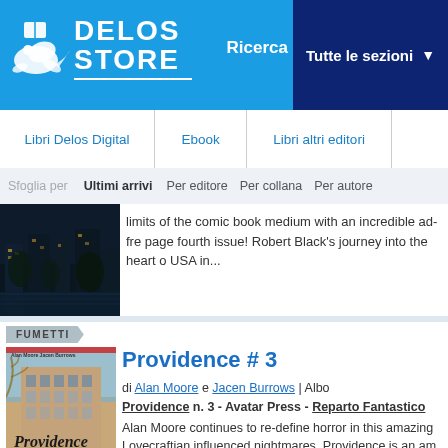[Figure (logo): Delos Store logo with seal mascot on blue header background with Ricerca and Tutte le sezioni navigation elements]
Libri Delos Digital | Ebook | Libri altri editori
Sfoglia per | Ultimi arrivi | Per editore | Per collana | Per autore
limits of the comic book medium with an incredible ad-fre page fourth issue! Robert Black's journey into the heart o USA in...
FUMETTI
Providence # 3
di Alan Moore e Jacen Burrows | Albo
Providence n. 3 - Avatar Press - Reparto Fantastico
Alan Moore continues to re-define horror in this amazing Lovecraftian influenced nightmares. Providence is an am and unique work where Moore has written every cover, ev